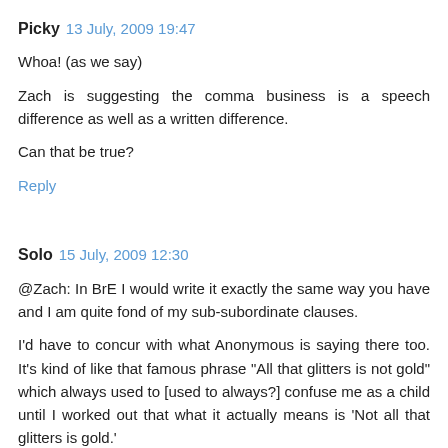Picky  13 July, 2009 19:47
Whoa! (as we say)
Zach is suggesting the comma business is a speech difference as well as a written difference.
Can that be true?
Reply
Solo  15 July, 2009 12:30
@Zach: In BrE I would write it exactly the same way you have and I am quite fond of my sub-subordinate clauses.
I'd have to concur with what Anonymous is saying there too. It's kind of like that famous phrase "All that glitters is not gold" which always used to [used to always?] confuse me as a child until I worked out that what it actually means is 'Not all that glitters is gold.'